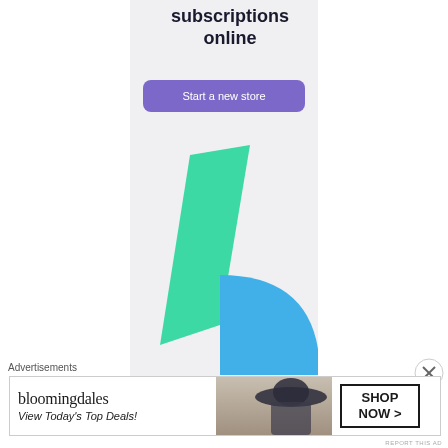[Figure (screenshot): Ad banner with text 'subscriptions online', a purple 'Start a new store' button, and decorative green and blue geometric shapes on a light gray background]
Advertisements
[Figure (screenshot): Bloomingdale's advertisement banner: logo, 'View Today's Top Deals!', photo of woman in hat, and 'SHOP NOW >' button]